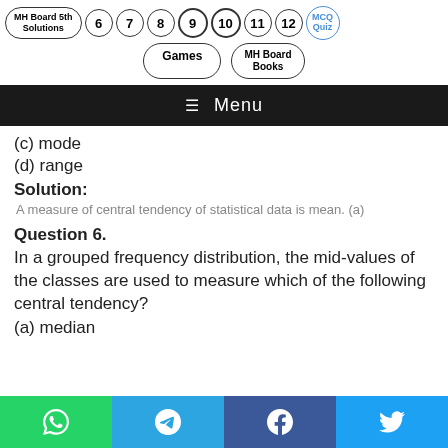MH Board 5th Solutions  6  7  8  9  10  11  12  Games  MH Board Books  MCQ Quiz
≡ Menu
(c) mode
(d) range
Solution:
A measure of central tendency of statistical data is mean. (a)
Question 6.
In a grouped frequency distribution, the mid-values of the classes are used to measure which of the following central tendency?
(a) median